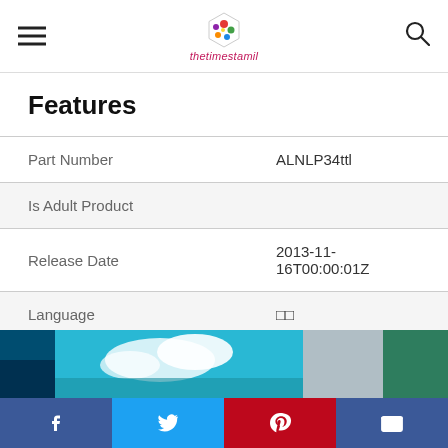thetimestamil
Features
| Property | Value |
| --- | --- |
| Part Number | ALNLP34ttl |
| Is Adult Product |  |
| Release Date | 2013-11-16T00:00:01Z |
| Language | □□ |
| Publication Date | 2013-11-15T15:00:00.000Z |
| Format | □□ |
[Figure (photo): Colorful landscape photo strip with ocean, clouds, and green terrain]
Social sharing bar: Facebook, Twitter, Pinterest, Email